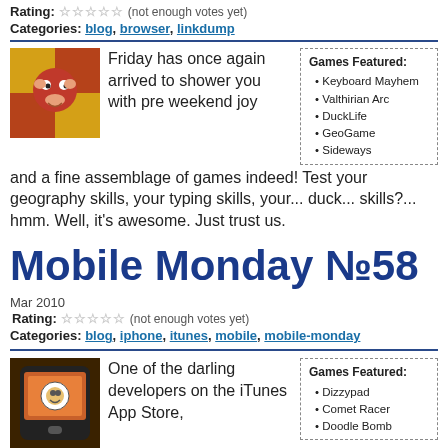Rating: ☆☆☆☆☆ (not enough votes yet)
Categories: blog, browser, linkdump
Friday has once again arrived to shower you with pre weekend joy and a fine assemblage of games indeed! Test your geography skills, your typing skills, your... duck... skills?... hmm. Well, it's awesome. Just trust us.
[Figure (illustration): Cartoon monkey/character image for Friday game post]
Games Featured: Keyboard Mayhem, Valthirian Arc, DuckLife, GeoGame, Sideways
Mobile Monday №58
Mar 2010
Rating: ☆☆☆☆☆ (not enough votes yet)
Categories: blog, iphone, itunes, mobile, mobile-monday
One of the darling developers on the iTunes App Store, NimbleBit, has released yet another simple but crazy fun game. Sometimes I wonder if those guys stay up at night thinking of ways to make me stare at my iPod for hours on end. Between TastFight, odie and Picocade, I've tried to
[Figure (illustration): iPhone app store game screenshot thumbnail]
Games Featured: Dizzypad, Comet Racer, Doodle Bomb